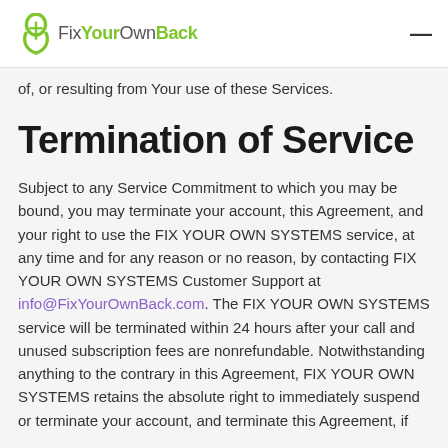FixYourOwnBack
of, or resulting from Your use of these Services.
Termination of Service
Subject to any Service Commitment to which you may be bound, you may terminate your account, this Agreement, and your right to use the FIX YOUR OWN SYSTEMS service, at any time and for any reason or no reason, by contacting FIX YOUR OWN SYSTEMS Customer Support at info@FixYourOwnBack.com. The FIX YOUR OWN SYSTEMS service will be terminated within 24 hours after your call and unused subscription fees are nonrefundable. Notwithstanding anything to the contrary in this Agreement, FIX YOUR OWN SYSTEMS retains the absolute right to immediately suspend or terminate your account, and terminate this Agreement, if